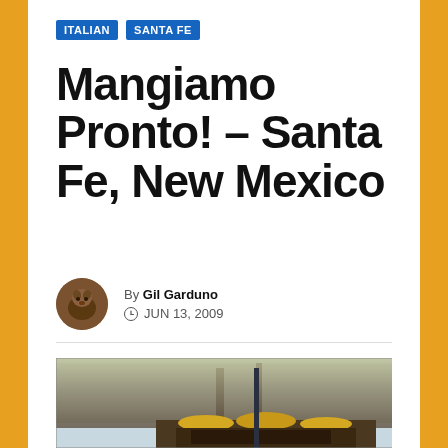ITALIAN  SANTA FE
Mangiamo Pronto! – Santa Fe, New Mexico
By Gil Garduno  JUN 13, 2009
[Figure (photo): Outdoor photo showing a restaurant exterior with yellow umbrellas visible at the bottom, surrounded by large weeping trees with hanging branches, taken in winter or early spring with bare branches]